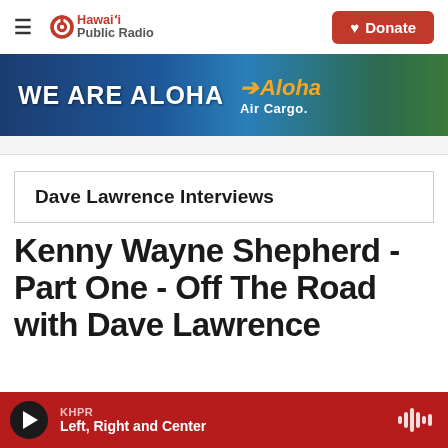Hawai'i Public Radio — navigation bar with Donate button
[Figure (screenshot): WE ARE ALOHA — Aloha Air Cargo advertisement banner with tropical mountain background]
Dave Lawrence Interviews
Kenny Wayne Shepherd - Part One - Off The Road with Dave Lawrence
KHPR — Left, Right and Center — audio player bar